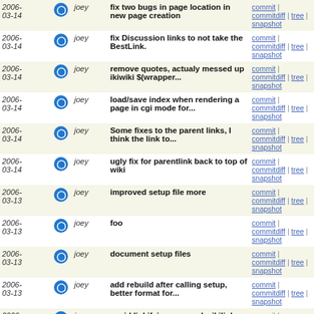| date | user | message | links |
| --- | --- | --- | --- |
| 2006-03-14 | joey | fix two bugs in page location in new page creation | commit | commitdiff | tree | snapshot |
| 2006-03-14 | joey | fix Discussion links to not take the BestLink. | commit | commitdiff | tree | snapshot |
| 2006-03-14 | joey | remove quotes, actualy messed up ikiwiki $(wrapper... | commit | commitdiff | tree | snapshot |
| 2006-03-14 | joey | load/save index when rendering a page in cgi mode for... | commit | commitdiff | tree | snapshot |
| 2006-03-14 | joey | Some fixes to the parent links, I think the link to... | commit | commitdiff | tree | snapshot |
| 2006-03-14 | joey | ugly fix for parentlink back to top of wiki | commit | commitdiff | tree | snapshot |
| 2006-03-13 | joey | improved setup file more | commit | commitdiff | tree | snapshot |
| 2006-03-13 | joey | foo | commit | commitdiff | tree | snapshot |
| 2006-03-13 | joey | document setup files | commit | commitdiff | tree | snapshot |
| 2006-03-13 | joey | add rebuild after calling setup, better format for... | commit | commitdiff | tree | snapshot |
| 2006-03-13 | joey | avoid linkifying escaped wikilinks | commit | commitdiff | tree | snapshot |
| 2006-03-13 | joey | add --setup, --wrappermode | commit | commitdiff | tree | snapshot |
| 2006-03-13 | joey | speed up cgis | commit | commitdiff | tree | snapshot |